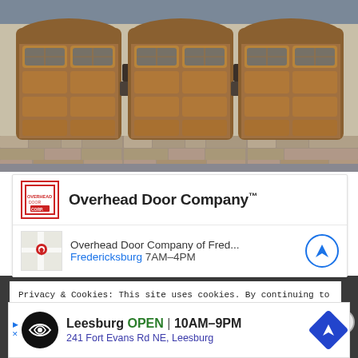[Figure (photo): Three wooden garage doors on a house with stone facade, outdoor wall lanterns between doors, grey siding above.]
Overhead Door Company™
Overhead Door Company of Fred... Fredericksburg 7AM–4PM
Privacy & Cookies: This site uses cookies. By continuing to use this website, you agree to their use.
To find out more, including how to control cookies, see here: Cookie Policy
Leesburg OPEN | 10AM–9PM
241 Fort Evans Rd NE, Leesburg